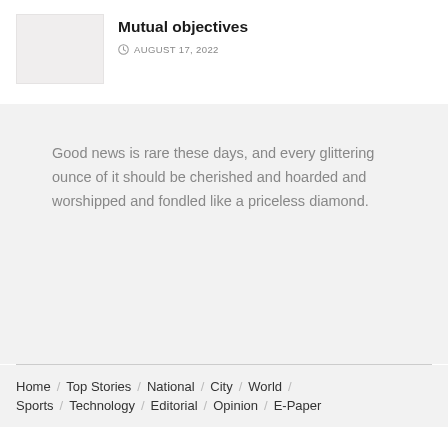Mutual objectives
AUGUST 17, 2022
Good news is rare these days, and every glittering ounce of it should be cherished and hoarded and worshipped and fondled like a priceless diamond.
Home / Top Stories / National / City / World / Sports / Technology / Editorial / Opinion / E-Paper